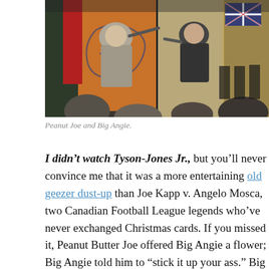[Figure (photo): Two elderly men on a stage with flags in the background, appearing to be involved in a physical altercation or scuffle, with an audience visible in the foreground.]
Peanut Joe and Big Angie.
I didn't watch Tyson-Jones Jr., but you'll never convince me that it was a more entertaining old geezer dust-up than Joe Kapp v. Angelo Mosca, two Canadian Football League legends who've never exchanged Christmas cards. If you missed it, Peanut Butter Joe offered Big Angie a flower; Big Angie told him to “stick it up your ass.” Big Angie attempted to cocobonk Peanut Butter Joe with his metal cane; Peanut Butter Joe lashed out with a right fist to the